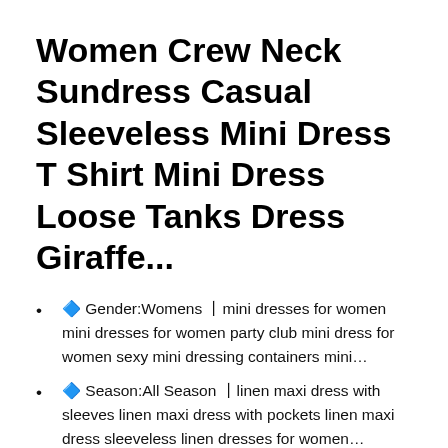Women Crew Neck Sundress Casual Sleeveless Mini Dress T Shirt Mini Dress Loose Tanks Dress Giraffe...
🔷 Gender:Womens 丨mini dresses for women mini dresses for women party club mini dress for women sexy mini dressing containers mini…
🔷 Season:All Season 丨linen maxi dress with sleeves linen maxi dress with pockets linen maxi dress sleeveless linen dresses for women…
❤Expedited Shipping:3-7 Days. Standard shipping:7-15